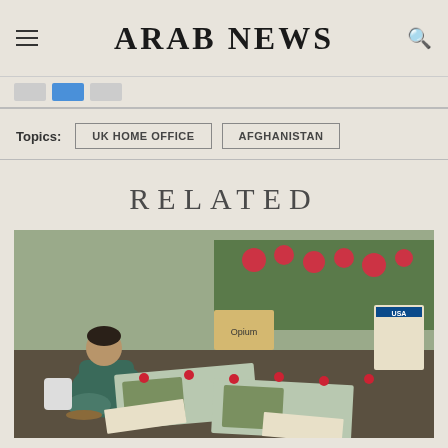ARAB NEWS
Topics: UK HOME OFFICE  AFGHANISTAN
RELATED
[Figure (photo): A man sits on the ground next to a memorial display on the street, with photos of victims laid out with candles and flowers, and a sign reading 'Opium'. Newspapers visible in the foreground.]